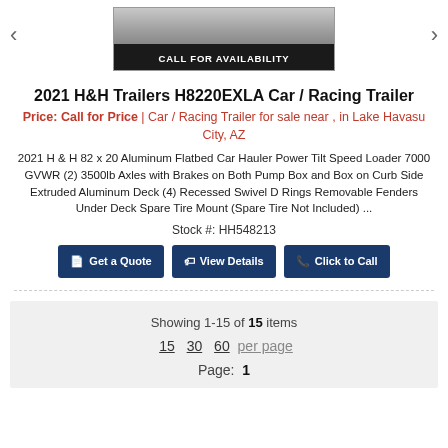[Figure (photo): Trailer product image with 'CALL FOR AVAILABILITY' banner at the bottom, navigation arrows on left and right]
2021 H&H Trailers H8220EXLA Car / Racing Trailer
Price: Call for Price | Car / Racing Trailer for sale near , in Lake Havasu City, AZ
2021 H & H 82 x 20 Aluminum Flatbed Car Hauler Power Tilt Speed Loader 7000 GVWR (2) 3500lb Axles with Brakes on Both Pump Box and Box on Curb Side Extruded Aluminum Deck (4) Recessed Swivel D Rings Removable Fenders Under Deck Spare Tire Mount (Spare Tire Not Included) ...
Stock #: HH548213
Get a Quote | View Details | Click to Call
Showing 1-15 of 15 items
15  30  60  per page
Page: 1